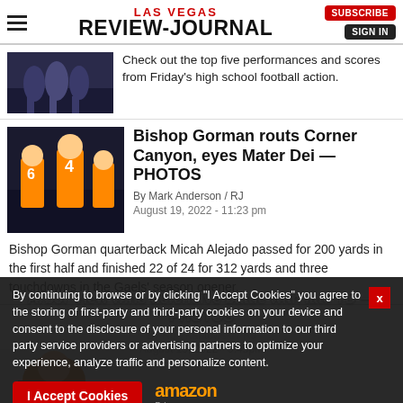LAS VEGAS REVIEW-JOURNAL
[Figure (photo): Football players on court, partially visible at top]
Check out the top five performances and scores from Friday's high school football action.
[Figure (photo): Bishop Gorman football players on field, player #4 and #6 visible]
Bishop Gorman routs Corner Canyon, eyes Mater Dei — PHOTOS
By Mark Anderson / RJ
August 19, 2022 - 11:23 pm
Bishop Gorman quarterback Micah Alejado passed for 200 yards in the first half and finished 22 of 24 for 312 yards and three touchdowns in the Gaels' season opener.
By continuing to browse or by clicking "I Accept Cookies" you agree to the storing of first-party and third-party cookies on your device and consent to the disclosure of your personal information to our third party service providers or advertising partners to optimize your experience, analyze traffic and personalize content.
Arbor View wins defensive battle with late TD — PHOTOS
By Ron Kantowski / RJ
August 19, 2022 - 9:45pm
Juice Washington broke loose on a 62-yard run late in the game and passed on the next play, lifting Arbor View